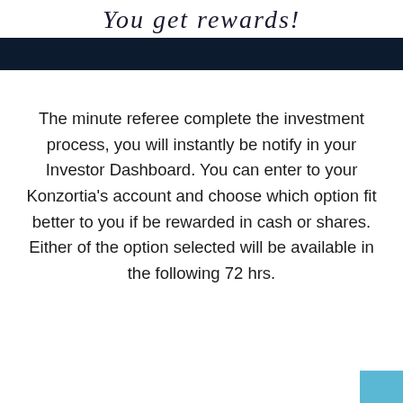You get rewards!
The minute referee complete the investment process, you will instantly be notify in your Investor Dashboard. You can enter to your Konzortia's account and choose which option fit better to you if be rewarded in cash or shares. Either of the option selected will be available in the following 72 hrs.